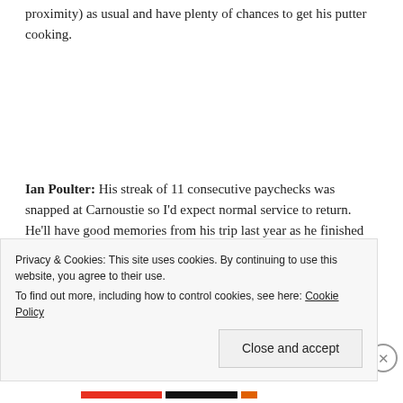proximity) as usual and have plenty of chances to get his putter cooking.
Ian Poulter: His streak of 11 consecutive paychecks was snapped at Carnoustie so I'd expect normal service to return. He'll have good memories from his trip last year as he finished third with a closing-round 64 in his first appearance.
Privacy & Cookies: This site uses cookies. By continuing to use this website, you agree to their use.
To find out more, including how to control cookies, see here: Cookie Policy
Close and accept